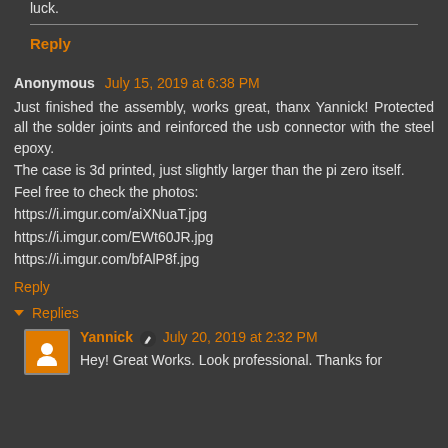luck.
Reply
Anonymous July 15, 2019 at 6:38 PM
Just finished the assembly, works great, thanx Yannick! Protected all the solder joints and reinforced the usb connector with the steel epoxy.
The case is 3d printed, just slightly larger than the pi zero itself.
Feel free to check the photos:
https://i.imgur.com/aiXNuaT.jpg
https://i.imgur.com/EWt60JR.jpg
https://i.imgur.com/bfAlP8f.jpg
Reply
▾ Replies
Yannick July 20, 2019 at 2:32 PM
Hey! Great Works. Look professional. Thanks for